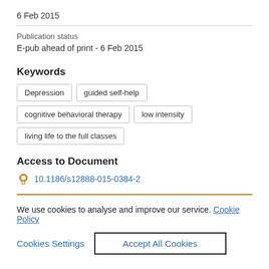6 Feb 2015
Publication status
E-pub ahead of print - 6 Feb 2015
Keywords
Depression
guided self-help
cognitive behavioral therapy
low intensity
living life to the full classes
Access to Document
10.1186/s12888-015-0384-2
We use cookies to analyse and improve our service. Cookie Policy
Cookies Settings
Accept All Cookies